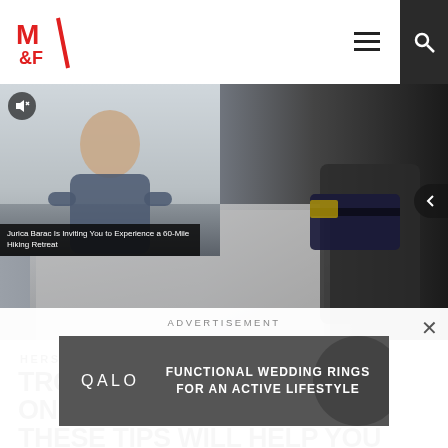[Figure (logo): M&F (Muscle & Fitness) logo in red block letters]
[Figure (photo): Person using laptop and holding a credit card, online shopping concept]
[Figure (photo): Video thumbnail overlay: man with arms crossed, caption reads Jurica Barac Is Inviting You to Experience a 60-Mile Hiking Retreat]
HERS FEATURES
TROUBLE BUYING CLOTHES ONLINE? THESE TIPS WILL HELP YOU FIND THE
ADVERTISEMENT
[Figure (other): QALO advertisement banner: FUNCTIONAL WEDDING RINGS FOR AN ACTIVE LIFESTYLE]